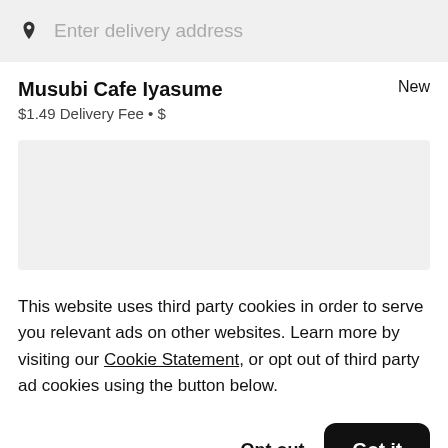Enter delivery address
Musubi Cafe Iyasume
New
$1.49 Delivery Fee • $
[Figure (other): Gray placeholder image/banner area]
This website uses third party cookies in order to serve you relevant ads on other websites. Learn more by visiting our Cookie Statement, or opt out of third party ad cookies using the button below.
Opt out
Got it